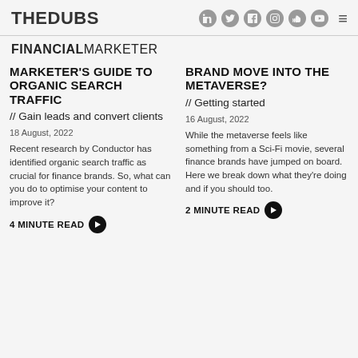THEDUBS
FINANCIAL MARKETER
MARKETER'S GUIDE TO ORGANIC SEARCH TRAFFIC // Gain leads and convert clients
18 August, 2022
Recent research by Conductor has identified organic search traffic as crucial for finance brands. So, what can you do to optimise your content to improve it?
4 MINUTE READ
BRAND MOVE INTO THE METAVERSE? // Getting started
16 August, 2022
While the metaverse feels like something from a Sci-Fi movie, several finance brands have jumped on board. Here we break down what they're doing and if you should too.
2 MINUTE READ